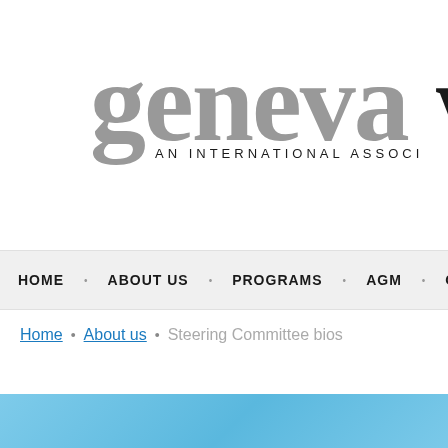[Figure (logo): Geneva W logo — 'geneva' in large gray serif text followed by 'w' in black, with subtitle 'AN INTERNATIONAL ASSOCI' below]
HOME · ABOUT US · PROGRAMS · AGM · OFFSHO
Home • About us • Steering Committee bios
STEERING COMMITTEE BIOS